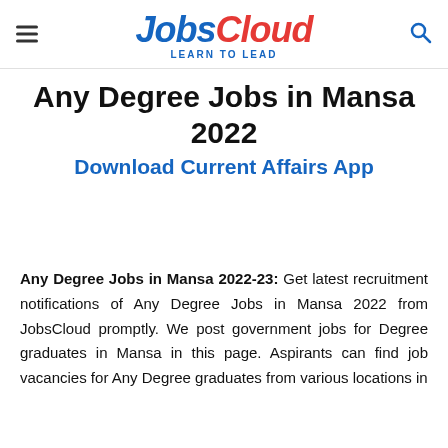JobsCloud - LEARN TO LEAD
Any Degree Jobs in Mansa 2022
Download Current Affairs App
Any Degree Jobs in Mansa 2022-23: Get latest recruitment notifications of Any Degree Jobs in Mansa 2022 from JobsCloud promptly. We post government jobs for Degree graduates in Mansa in this page. Aspirants can find job vacancies for Any Degree graduates from various locations in